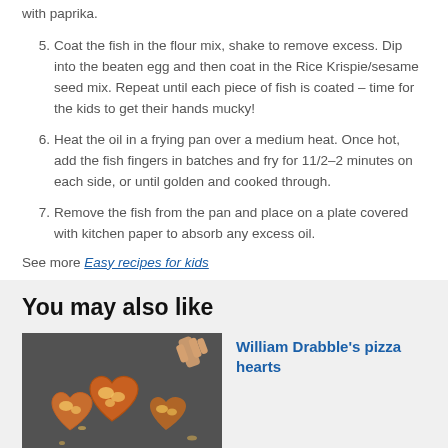with paprika.
5.  Coat the fish in the flour mix, shake to remove excess. Dip into the beaten egg and then coat in the Rice Krispie/sesame seed mix. Repeat until each piece of fish is coated – time for the kids to get their hands mucky!
6.  Heat the oil in a frying pan over a medium heat. Once hot, add the fish fingers in batches and fry for 11/2–2 minutes on each side, or until golden and cooked through.
7.  Remove the fish from the pan and place on a plate covered with kitchen paper to absorb any excess oil.
See more Easy recipes for kids
You may also like
[Figure (photo): Heart-shaped mini pizzas on a dark tray, with a child's hand reaching in]
William Drabble's pizza hearts